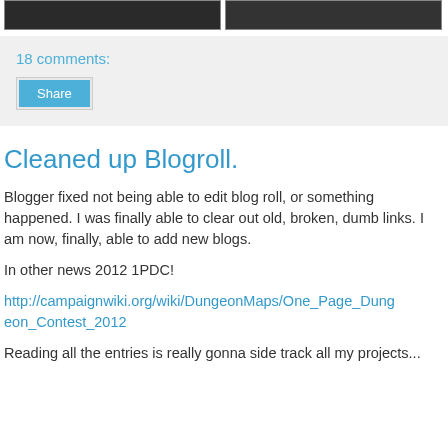[Figure (photo): Two dark thumbnail images side by side at top of page]
18 comments:
Share
Cleaned up Blogroll.
Blogger fixed not being able to edit blog roll, or something happened.  I was finally able to clear out old, broken, dumb links.  I am now, finally, able to add new blogs.
In other news 2012 1PDC!
http://campaignwiki.org/wiki/DungeonMaps/One_Page_Dungeon_Contest_2012
Reading all the entries is really gonna side track all my projects...